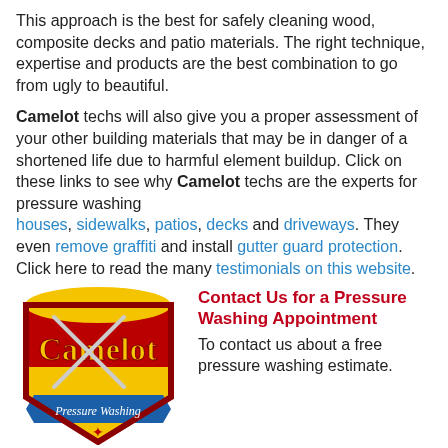This approach is the best for safely cleaning wood, composite decks and patio materials. The right technique, expertise and products are the best combination to go from ugly to beautiful.
Camelot techs will also give you a proper assessment of your other building materials that may be in danger of a shortened life due to harmful element buildup. Click on these links to see why Camelot techs are the experts for pressure washing houses, sidewalks, patios, decks and driveways. They even remove graffiti and install gutter guard protection. Click here to read the many testimonials on this website.
[Figure (logo): Camelot Pressure Washing shield logo with red/yellow/blue colors and two crossed pressure washing wands]
Contact Us for a Pressure Washing Appointment
To contact us about a free pressure washing estimate.